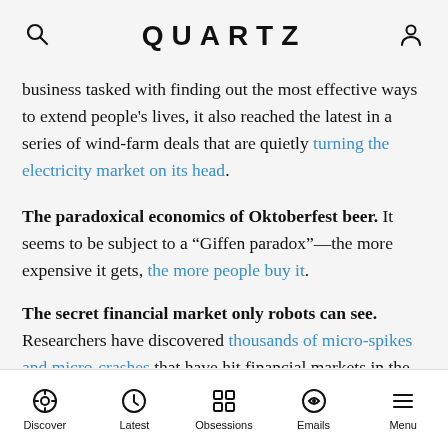QUARTZ
business tasked with finding out the most effective ways to extend people's lives, it also reached the latest in a series of wind-farm deals that are quietly turning the electricity market on its head.
The paradoxical economics of Oktoberfest beer. It seems to be subject to a “Giffen paradox”—the more expensive it gets, the more people buy it.
The secret financial market only robots can see. Researchers have discovered thousands of micro-spikes and micro-crashes that have hit financial markets in the past few years, invisible to humans and regulators, and whose impacts on the markets are still poorly understood.
Discover | Latest | Obsessions | Emails | Menu